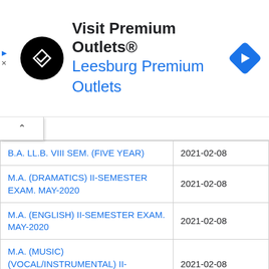[Figure (other): Advertisement banner for Visit Premium Outlets® - Leesburg Premium Outlets with logo and navigation icon]
|  |  |
| --- | --- |
| B.A. LL.B. VIII SEM. (FIVE YEAR) | 2021-02-08 |
| M.A. (DRAMATICS) II-SEMESTER EXAM. MAY-2020 | 2021-02-08 |
| M.A. (ENGLISH) II-SEMESTER EXAM. MAY-2020 | 2021-02-08 |
| M.A. (MUSIC) (VOCAL/INSTRUMENTAL) II-SEMESTER | 2021-02-08 |
| M.A. (POLITICAL SCIENCE) II- | 2021-02-08 |